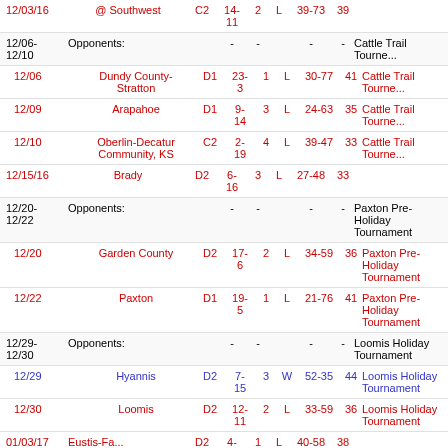| Date | Opponent | Class | Record | Streak | W/L | Score | Pts | Tournament |
| --- | --- | --- | --- | --- | --- | --- | --- | --- |
| 12/03/16 | @ Southwest | C2 | 14-11 | 2 | L | 39-73 | 39 |  |
| 12/06-12/10 | Opponents: |  |  |  | - | - | - | Cattle Trail Tournament |
| 12/06 | Dundy County-Stratton | D1 | 23-3 | 1 | L | 30-77 | 41 | Cattle Trail Tournament |
| 12/09 | Arapahoe | D1 | 9-14 | 3 | L | 24-63 | 35 | Cattle Trail Tournament |
| 12/10 | Oberlin-Decatur Community, KS | C2 | 2-19 | 4 | L | 39-47 | 33 | Cattle Trail Tournament |
| 12/15/16 | Brady | D2 | 6-16 | 3 | L | 27-48 | 33 |  |
| 12/20-12/22 | Opponents: |  |  |  | - | - | - | Paxton Pre-Holiday Tournament |
| 12/20 | Garden County | D2 | 17-6 | 2 | L | 34-59 | 36 | Paxton Pre-Holiday Tournament |
| 12/22 | Paxton | D1 | 19-5 | 1 | L | 21-76 | 41 | Paxton Pre-Holiday Tournament |
| 12/29-12/30 | Opponents: |  |  |  | - | - | - | Loomis Holiday Tournament |
| 12/29 | Hyannis | D2 | 7-15 | 3 | W | 52-35 | 44 | Loomis Holiday Tournament |
| 12/30 | Loomis | D2 | 12-11 | 2 | L | 33-59 | 36 | Loomis Holiday Tournament |